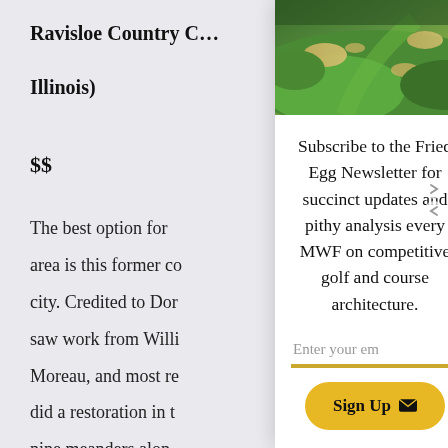Ravisloe Country C… Illinois)
$$
The best option for area is this former co city. Credited to Don saw work from Willi Moreau, and most re did a restoration in t nine meanders along convention with ba
[Figure (photo): Aerial view of a golf course with green fairways, bunkers, and sand traps]
Subscribe to the Fried Egg Newsletter for succinct updates and pithy analysis every MWF on competitive golf and course architecture.
Enter your em
Sign Up